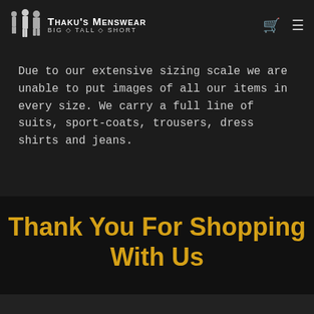Thaku's Menswear — BIG ◇ TALL ◇ SHORT
Due to our extensive sizing scale we are unable to put images of all our items in every size. We carry a full line of suits, sport-coats, trousers, dress shirts and jeans.
Thank You For Shopping With Us